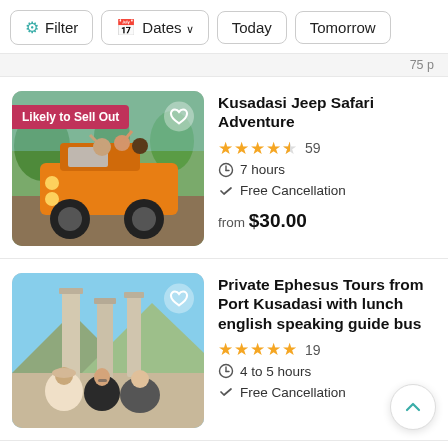Filter | Dates | Today | Tomorrow
75 p
[Figure (photo): Orange jeep safari vehicle with tourists riding in it, outdoors in a green area. Badge reads 'Likely to Sell Out'.]
Kusadasi Jeep Safari Adventure
★★★★½  59
⏱ 7 hours
✓ Free Cancellation
from $30.00
[Figure (photo): Three tourists posing in front of ancient Greek/Roman columns at an archaeological site (Ephesus). Sunny, mountainous background.]
Private Ephesus Tours from Port Kusadasi with lunch english speaking guide bus
★★★★★  19
⏱ 4 to 5 hours
✓ Free Cancellation